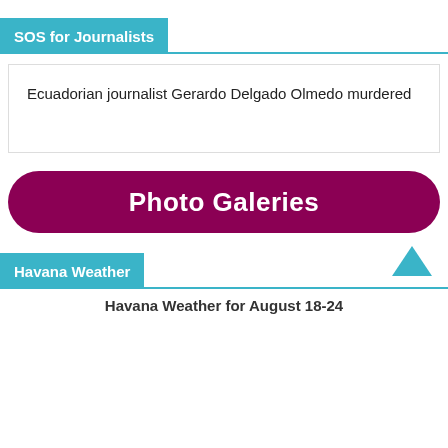SOS for Journalists
Ecuadorian journalist Gerardo Delgado Olmedo murdered
Photo Galeries
Havana Weather
Havana Weather for August 18-24